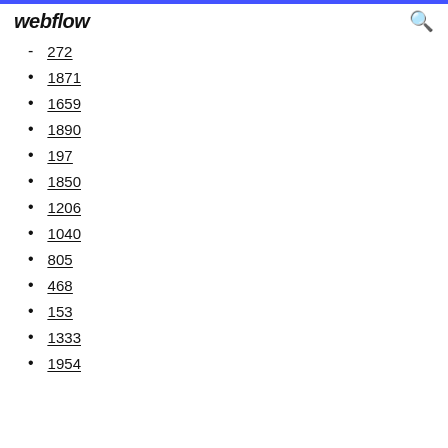webflow
272
1871
1659
1890
197
1850
1206
1040
805
468
153
1333
1954